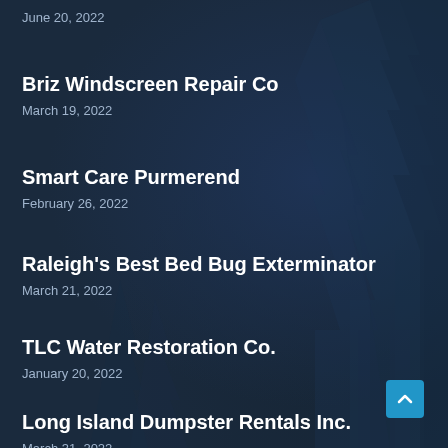June 20, 2022
Briz Windscreen Repair Co
March 19, 2022
Smart Care Purmerend
February 26, 2022
Raleigh's Best Bed Bug Exterminator
March 21, 2022
TLC Water Restoration Co.
January 20, 2022
Long Island Dumpster Rentals Inc.
March 31, 2022